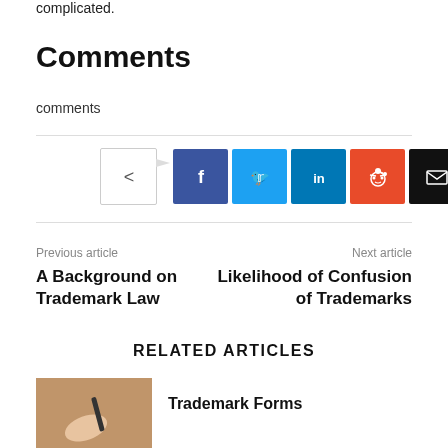complicated.
Comments
comments
[Figure (infographic): Social share buttons: share icon, Facebook, Twitter, LinkedIn, Reddit, Email, Print]
Previous article
A Background on Trademark Law
Next article
Likelihood of Confusion of Trademarks
RELATED ARTICLES
[Figure (photo): Hand holding a pen, writing]
Trademark Forms